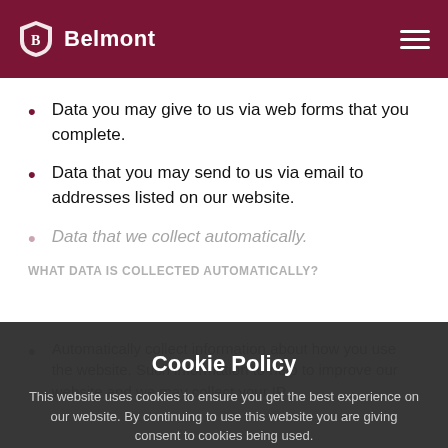Belmont
Data you may give to us via web forms that you complete.
Data that you may send to us via email to addresses listed on our website.
Data that we collect automatically.
WHAT DATA IS COLLECTED AUTOMATICALLY?
Cookie Policy
This website uses cookies to ensure you get the best experience on our website. By continuing to use this website you are giving consent to cookies being used.
Automatically collect information about how you use the website. Such information to help to improve our website and we may collect your IP